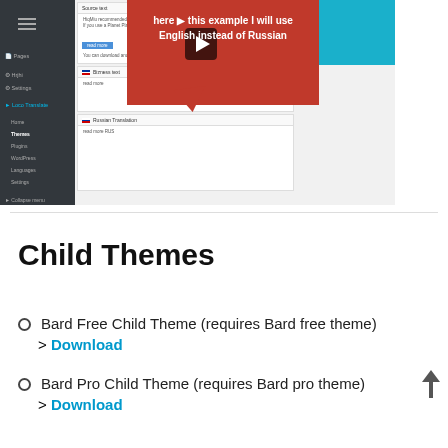[Figure (screenshot): WordPress admin interface screenshot showing Loco Translate plugin with a video tutorial overlay. Red callout box reads 'here in this example I will use English instead of Russian'. Top right shows cyan bar with 'Feature Request' and 'Video Tutorials' links.]
Child Themes
Bard Free Child Theme (requires Bard free theme)
> Download
Bard Pro Child Theme (requires Bard pro theme)
> Download